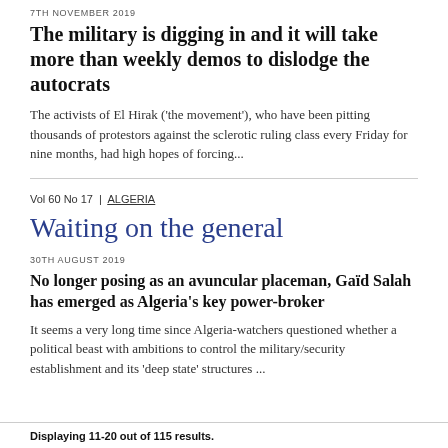7TH NOVEMBER 2019
The military is digging in and it will take more than weekly demos to dislodge the autocrats
The activists of El Hirak ('the movement'), who have been pitting thousands of protestors against the sclerotic ruling class every Friday for nine months, had high hopes of forcing...
Vol 60 No 17 | ALGERIA
Waiting on the general
30TH AUGUST 2019
No longer posing as an avuncular placeman, Gaïd Salah has emerged as Algeria's key power-broker
It seems a very long time since Algeria-watchers questioned whether a political beast with ambitions to control the military/security establishment and its 'deep state' structures ...
Displaying 11-20 out of 115 results.